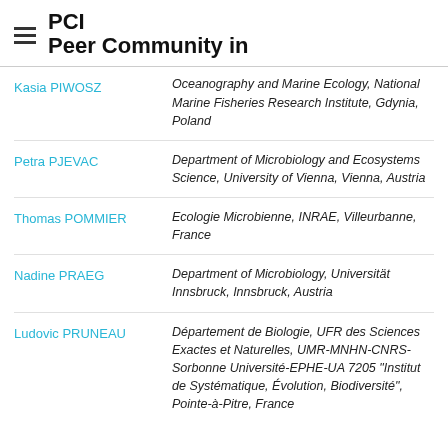PCI Peer Community in
Kasia PIWOSZ — Oceanography and Marine Ecology, National Marine Fisheries Research Institute, Gdynia, Poland
Petra PJEVAC — Department of Microbiology and Ecosystems Science, University of Vienna, Vienna, Austria
Thomas POMMIER — Ecologie Microbienne, INRAE, Villeurbanne, France
Nadine PRAEG — Department of Microbiology, Universität Innsbruck, Innsbruck, Austria
Ludovic PRUNEAU — Département de Biologie, UFR des Sciences Exactes et Naturelles, UMR-MNHN-CNRS-Sorbonne Université-EPHE-UA 7205 "Institut de Systématique, Évolution, Biodiversité", Pointe-à-Pitre, France